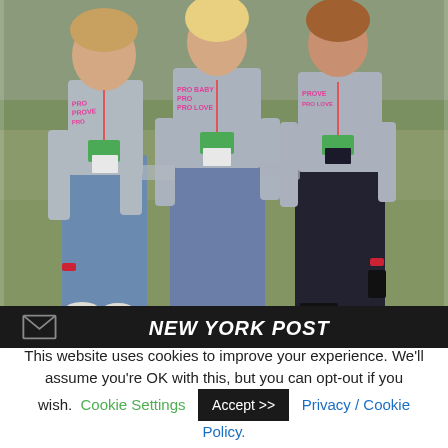[Figure (photo): Three young women standing outdoors on grass, wearing matching grey t-shirts with pink text reading 'PROVE' and festival lanyards/badges. Two wear jeans, one wears black trousers. They have red wristbands.]
[Figure (logo): New York Post logo bar — dark background with envelope icon on the left and 'NEW YORK POST' in bold italic white uppercase text on the right.]
This website uses cookies to improve your experience. We'll assume you're OK with this, but you can opt-out if you wish. Cookie Settings  Accept >>  Privacy / Cookie Policy.